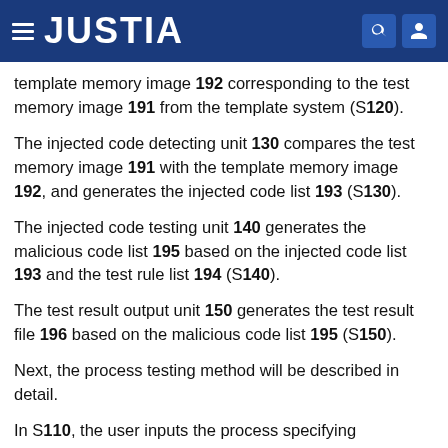JUSTIA
template memory image 192 corresponding to the test memory image 191 from the template system (S120).
The injected code detecting unit 130 compares the test memory image 191 with the template memory image 192, and generates the injected code list 193 (S130).
The injected code testing unit 140 generates the malicious code list 195 based on the injected code list 193 and the test rule list 194 (S140).
The test result output unit 150 generates the test result file 196 based on the malicious code list 195 (S150).
Next, the process testing method will be described in detail.
In S110, the user inputs the process specifying